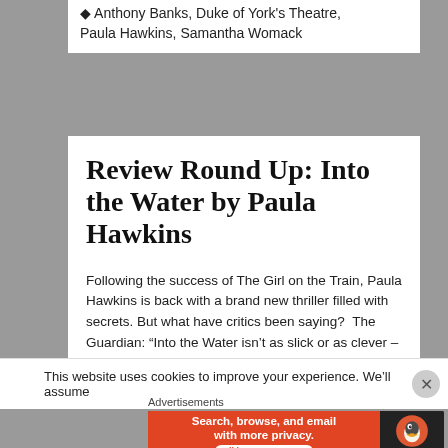Anthony Banks, Duke of York's Theatre, Paula Hawkins, Samantha Womack
Review Round Up: Into the Water by Paula Hawkins
Following the success of The Girl on the Train, Paula Hawkins is back with a brand new thriller filled with secrets. But what have critics been saying?  The Guardian: “Into the Water isn’t as slick or as clever – or as relatable – as The Girl on the
This website uses cookies to improve your experience. We’ll assume
Advertisements
[Figure (other): DuckDuckGo advertisement banner: Search, browse, and email with more privacy. All in One Free App. DuckDuckGo logo on right.]